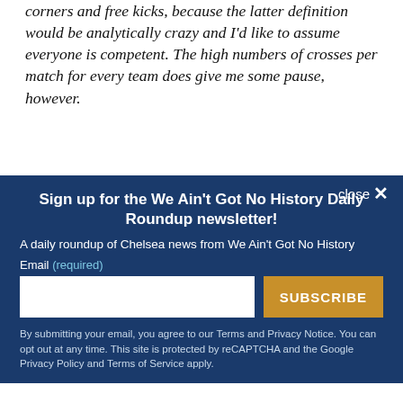corners and free kicks, because the latter definition would be analytically crazy and I'd like to assume everyone is competent. The high numbers of crosses per match for every team does give me some pause, however.
close ×
Sign up for the We Ain't Got No History Daily Roundup newsletter!
A daily roundup of Chelsea news from We Ain't Got No History
Email (required)
SUBSCRIBE
By submitting your email, you agree to our Terms and Privacy Notice. You can opt out at any time. This site is protected by reCAPTCHA and the Google Privacy Policy and Terms of Service apply.